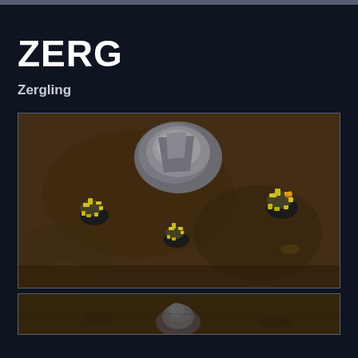ZERG
Zergling
[Figure (screenshot): Overhead isometric game screenshot showing three Zergling units (glowing yellow) on dark brown terrain with a large grey rock formation in the background]
[Figure (screenshot): Partial overhead game screenshot showing terrain with a unit visible at the bottom]